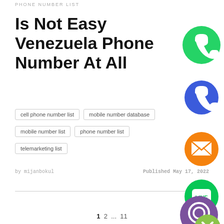PHONE NUMBER LIST
Is Not Easy Venezuela Phone Number At All
cell phone number list
mobile number database
mobile number list
phone number list
telemarketing list
by mijanbokul    Published May 17, 2022
[Figure (illustration): Social media sharing icons column: WhatsApp (green), Phone/Call (blue), Email/Mail (orange), LINE (green), Viber (purple), close/X (light green)]
1  2  ...  11